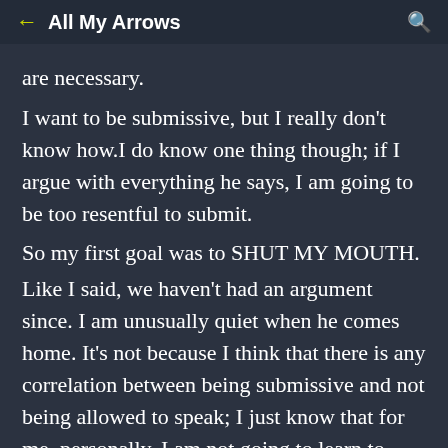All My Arrows
are necessary.
I want to be submissive, but I really don't know how.I do know one thing though; if I argue with everything he says, I am going to be too resentful to submit.
So my first goal was to SHUT MY MOUTH.
Like I said, we haven't had an argument since. I am unusually quiet when he comes home. It's not because I think that there is any correlation between being submissive and not being allowed to speak; I just know that for me, personally, I am not going to learn to train my tongue unless I just